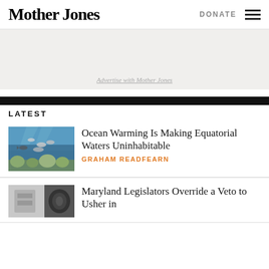Mother Jones
DONATE
[Figure (other): Ad banner area with text: Advertise with Mother Jones]
Advertise with Mother Jones
LATEST
[Figure (photo): Underwater ocean photo showing fish swimming above coral reef in blue water]
Ocean Warming Is Making Equatorial Waters Uninhabitable
GRAHAM READFEARN
[Figure (photo): Partial view of article thumbnail showing machinery or equipment]
Maryland Legislators Override a Veto to Usher in